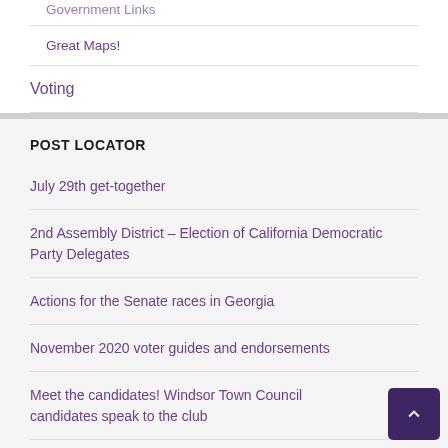Government Links
Great Maps!
Voting
POST LOCATOR
July 29th get-together
2nd Assembly District – Election of California Democratic Party Delegates
Actions for the Senate races in Georgia
November 2020 voter guides and endorsements
Meet the candidates! Windsor Town Council candidates speak to the club